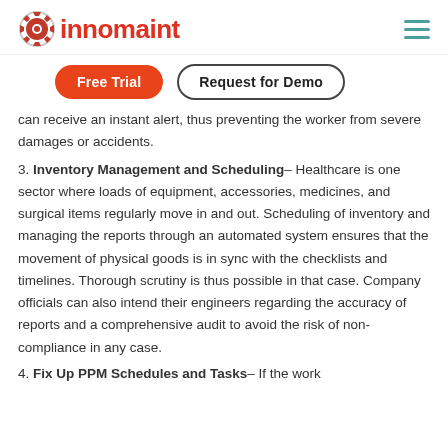innomaint
[Figure (logo): Innomaint logo with gear icon and red text 'innomaint', plus hamburger menu icon]
Free Trial | Request for Demo
can receive an instant alert, thus preventing the worker from severe damages or accidents.
3. Inventory Management and Scheduling– Healthcare is one sector where loads of equipment, accessories, medicines, and surgical items regularly move in and out. Scheduling of inventory and managing the reports through an automated system ensures that the movement of physical goods is in sync with the checklists and timelines. Thorough scrutiny is thus possible in that case. Company officials can also intend their engineers regarding the accuracy of reports and a comprehensive audit to avoid the risk of non-compliance in any case.
4. Fix Up PPM Schedules and Tasks– If the work